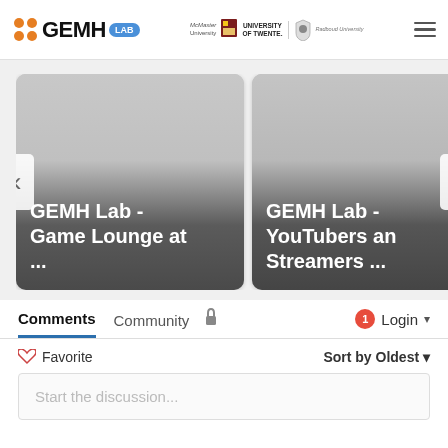[Figure (logo): GEMH Lab logo with orange dots and blue LAB badge]
[Figure (logo): McMaster University, University of Twente, and Radboud University logos]
[Figure (screenshot): Video card carousel: GEMH Lab - Game Lounge at ... and GEMH Lab - YouTubers and Streamers ... with navigation arrows]
Comments
Community
Login
Favorite
Sort by Oldest
Start the discussion...